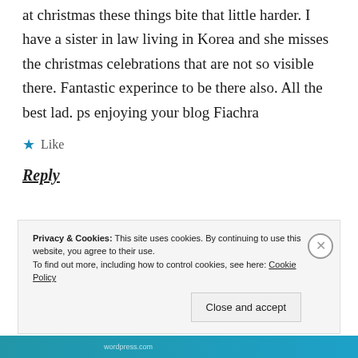at christmas these things bite that little harder. I have a sister in law living in Korea and she misses the christmas celebrations that are not so visible there. Fantastic experince to be there also. All the best lad. ps enjoying your blog Fiachra
Like
Reply
Privacy & Cookies: This site uses cookies. By continuing to use this website, you agree to their use. To find out more, including how to control cookies, see here: Cookie Policy
Close and accept